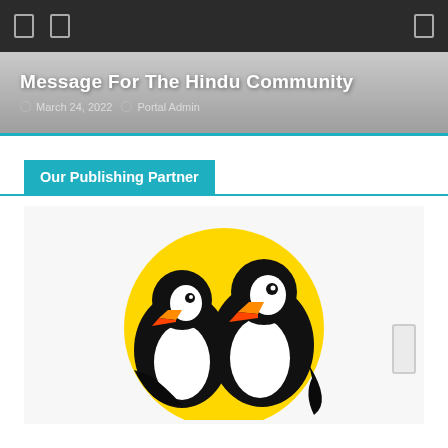navigation bar with icons
Message For The Hindu Community
March 24, 2022   Portal Admin
Our Publishing Partner
[Figure (logo): Two puffins on a yellow circle background - publishing partner logo]